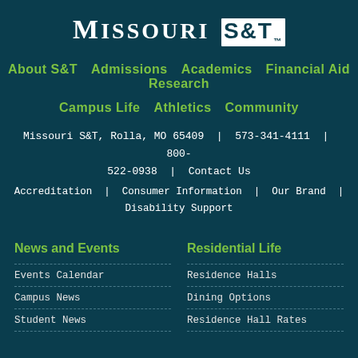[Figure (logo): Missouri S&T university logo in white on dark teal background]
About S&T   Admissions   Academics   Financial Aid   Research
Campus Life   Athletics   Community
Missouri S&T, Rolla, MO 65409 | 573-341-4111 | 800-522-0938 | Contact Us
Accreditation | Consumer Information | Our Brand | Disability Support
News and Events
Events Calendar
Campus News
Student News
Residential Life
Residence Halls
Dining Options
Residence Hall Rates